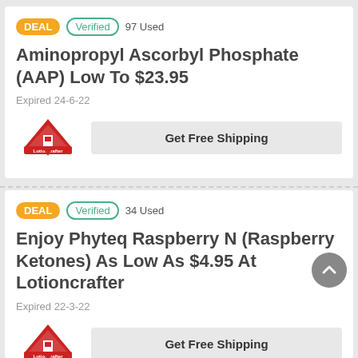DEAL · Verified · 97 Used
Aminopropyl Ascorbyl Phosphate (AAP) Low To $23.95
Expired 24-6-22
[Figure (logo): Lotioncrafter logo with red triangle and text]
Get Free Shipping
DEAL · Verified · 34 Used
Enjoy Phyteq Raspberry N (Raspberry Ketones) As Low As $4.95 At Lotioncrafter
Expired 22-3-22
[Figure (logo): Lotioncrafter logo with red triangle and text]
Get Free Shipping